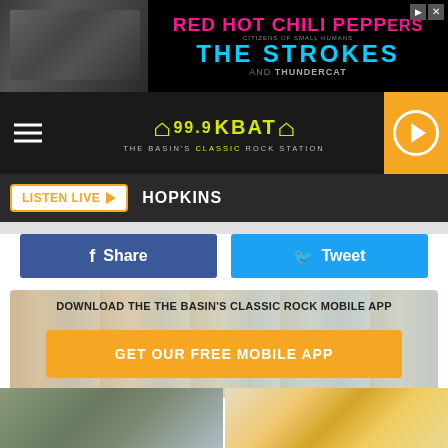[Figure (screenshot): Advertisement banner for Red Hot Chili Peppers, The Strokes and Thundercat concert/event on black background with pink/cyan text]
[Figure (logo): 99.9 KBAT radio logo with bat wings in yellow-green, subtitle: THE BASIN'S CLASSIC ROCK STATION]
LISTEN LIVE ▶   HOPKINS
Share
Tweet
DOWNLOAD THE THE BASIN'S CLASSIC ROCK MOBILE APP
GET OUR FREE MOBILE APP
At 54, This is Where Mike Tyson Lives Now
The 14 Healthiest Vegetables on Earth
BuzzFond
Also listen on:  amazon alexa
[Figure (photo): Partial photo of a house exterior with trees in snow on the bottom left]
[Figure (photo): Partial photo of an orange cat on the bottom right]